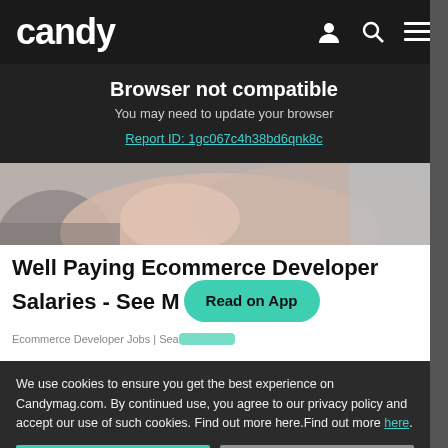candy
Browser not compatible
You may need to update your browser
Report ID: 1gc067c4h38bd6qnk8c
[Figure (photo): Person in pink top working at desk, cropped view]
Well Paying Ecommerce Developer Salaries - See M...
Read on App
Ecommerce Developer Jobs | Sea...
We use cookies to ensure you get the best experience on Candymag.com. By continued use, you agree to our privacy policy and accept our use of such cookies. Find out more here.Find out more here.
I AGREE
I DISAGREE